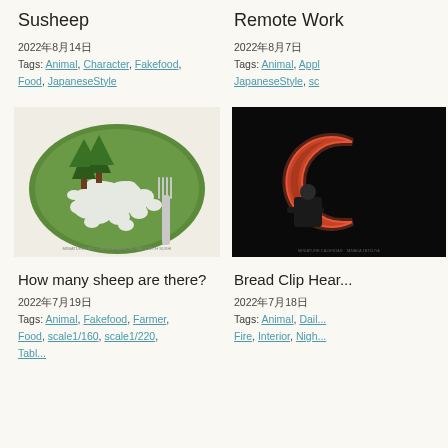Susheep
2022年8月14日
Tags: Animal, Character, Fakefood, Food, JapaneseStyle
Remote Work
2022年8月7日
Tags: Animal, App..., JapaneseStyle, sc...
[Figure (photo): A green plate with small white sheep-shaped pieces and miniature pine trees, with a fork on the right side.]
[Figure (photo): A dark background scene with a small figure sitting in a chair facing a glowing letter C shape.]
How many sheep are there?
2022年7月19日
Tags: Animal, Fakefood, Farmer, Food, scale1/160, scale1/220, Table...
Bread Clip Hear...
2022年7月18日
Tags: Animal, Dail..., Fire, Interior, Nigh...